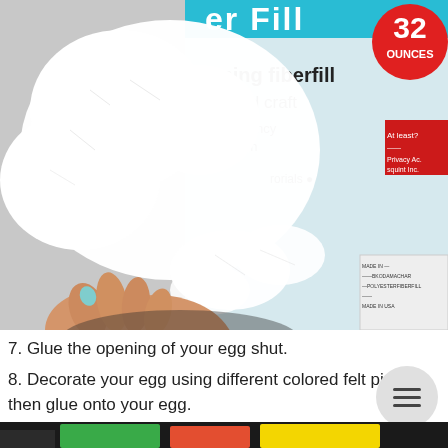[Figure (photo): A hand holding white fiberfill stuffing material in front of a bag labeled 'er Fill', '32 OUNCES', 'orming fiberfill', 'toys and crafts', 'resiliency', 'bunch', with red accents and product label details visible.]
7. Glue the opening of your egg shut.
8. Decorate your egg using different colored felt pieces, then glue onto your egg.
[Figure (photo): Colorful sheets of felt in green, orange/red, and yellow spread on a dark surface.]